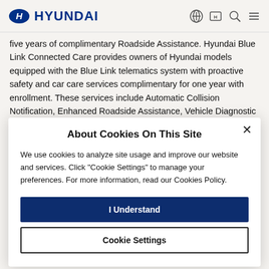HYUNDAI
five years of complimentary Roadside Assistance. Hyundai Blue Link Connected Care provides owners of Hyundai models equipped with the Blue Link telematics system with proactive safety and car care services complimentary for one year with enrollment. These services include Automatic Collision Notification, Enhanced Roadside Assistance, Vehicle Diagnostic Alert, Monthly Vehicle Health Report, and Vehicle Service Scheduling.
About Cookies On This Site
We use cookies to analyze site usage and improve our website and services. Click "Cookie Settings" to manage your preferences. For more information, read our Cookies Policy.
I Understand
Cookie Settings